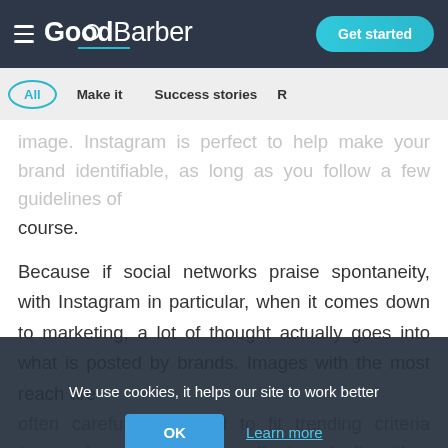[Figure (screenshot): GoodBarber website header with logo and Get started button]
GoodBarber — Get started
image. Instagram is perfect to help make your brand identifiable, as long as you follow a few guidelines of course.
Because if social networks praise spontaneity, with Instagram in particular, when it comes down to marketing, a lot of thought actually goes into what is posted by brands. Images with the most reach are
often carefully arranged to fit trending criteria (even when they have an effortless feel), with a clever caption to boot.
We use cookies, it helps our site to work better